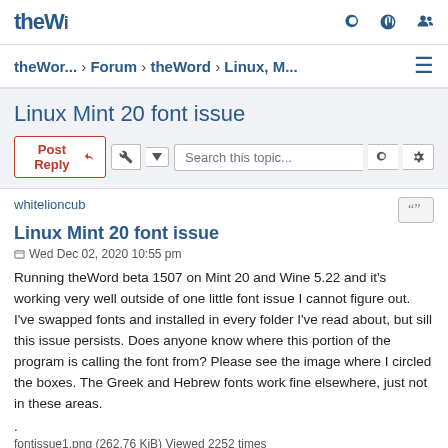theW... › Forum › theWord › Linux, M...
Linux Mint 20 font issue
whitelioncub
Linux Mint 20 font issue
Wed Dec 02, 2020 10:55 pm
Running theWord beta 1507 on Mint 20 and Wine 5.22 and it's working very well outside of one little font issue I cannot figure out. I've swapped fonts and installed in every folder I've read about, but sill this issue persists. Does anyone know where this portion of the program is calling the font from? Please see the image where I circled the boxes. The Greek and Hebrew fonts work fine elsewhere, just not in these areas.
.
fontissue1.png (262.76 KiB) Viewed 2252 times